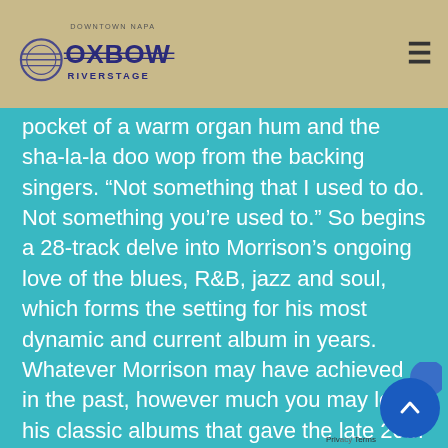[Figure (logo): Oxbow Riverstage logo with 'Downtown Napa' text above, circular guitar tuning peg graphic on left, horizontal lines through text]
pocket of a warm organ hum and the sha-la-la doo wop from the backing singers. “Not something that I used to do. Not something you’re used to.” So begins a 28-track delve into Morrison’s ongoing love of the blues, R&B, jazz and soul, which forms the setting for his most dynamic and current album in years. Whatever Morrison may have achieved in the past, however much you may love his classic albums that gave the late 20th century its most transcendental moments, he’s living in the present. And he’s taking note of what’s been happening.